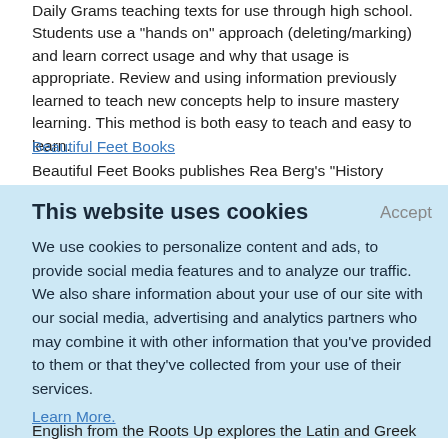Daily Grams teaching texts for use through high school. Students use a "hands on" approach (deleting/marking) and learn correct usage and why that usage is appropriate. Review and using information previously learned to teach new concepts help to insure mastery learning. This method is both easy to teach and easy to learn.
Beautiful Feet Books
Beautiful Feet Books publishes Rea Berg's "History Through Literature" study guides. They offer fine children's literature,
This website uses cookies
Accept
We use cookies to personalize content and ads, to provide social media features and to analyze our traffic. We also share information about your use of our site with our social media, advertising and analytics partners who may combine it with other information that you've provided to them or that they've collected from your use of their services.
Learn More.
English from the Roots Up explores the Latin and Greek